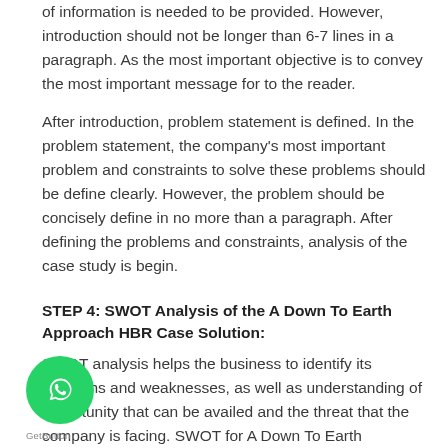of information is needed to be provided. However, introduction should not be longer than 6-7 lines in a paragraph. As the most important objective is to convey the most important message for to the reader.
After introduction, problem statement is defined. In the problem statement, the company's most important problem and constraints to solve these problems should be define clearly. However, the problem should be concisely define in no more than a paragraph. After defining the problems and constraints, analysis of the case study is begin.
STEP 4: SWOT Analysis of the A Down To Earth Approach HBR Case Solution:
SWOT analysis helps the business to identify its strengths and weaknesses, as well as understanding of opportunity that can be availed and the threat that the company is facing. SWOT for A Down To Earth Approach is a powerful tool of analysis as it provide a